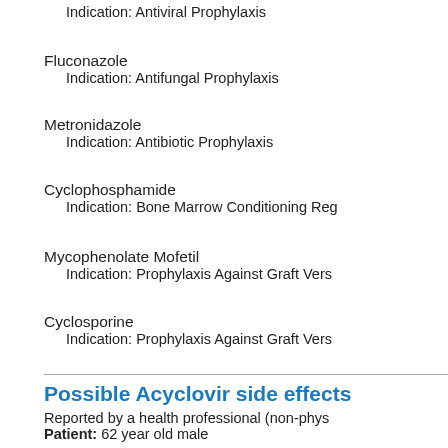Indication: Antiviral Prophylaxis
Fluconazole
    Indication: Antifungal Prophylaxis
Metronidazole
    Indication: Antibiotic Prophylaxis
Cyclophosphamide
    Indication: Bone Marrow Conditioning Reg…
Mycophenolate Mofetil
    Indication: Prophylaxis Against Graft Vers…
Cyclosporine
    Indication: Prophylaxis Against Graft Vers…
Possible Acyclovir side effects
Reported by a health professional (non-phys…
Patient: 62 year old male
Reactions: Death, Blood Bilirubin Increased…